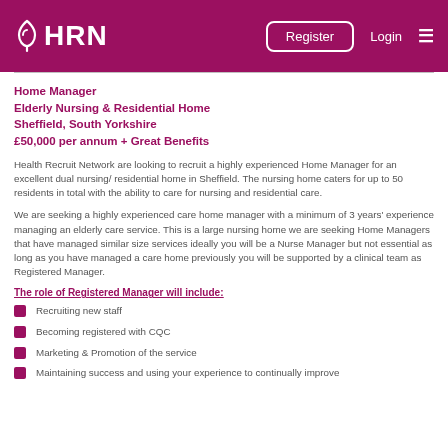HRN — Register | Login
Home Manager
Elderly Nursing & Residential Home
Sheffield, South Yorkshire
£50,000 per annum + Great Benefits
Health Recruit Network are looking to recruit a highly experienced Home Manager for an excellent dual nursing/ residential home in Sheffield. The nursing home caters for up to 50 residents in total with the ability to care for nursing and residential care.
We are seeking a highly experienced care home manager with a minimum of 3 years' experience managing an elderly care service. This is a large nursing home we are seeking Home Managers that have managed similar size services ideally you will be a Nurse Manager but not essential as long as you have managed a care home previously you will be supported by a clinical team as Registered Manager.
The role of Registered Manager will include:
Recruiting new staff
Becoming registered with CQC
Marketing & Promotion of the service
Maintaining success and using your experience to continually improve